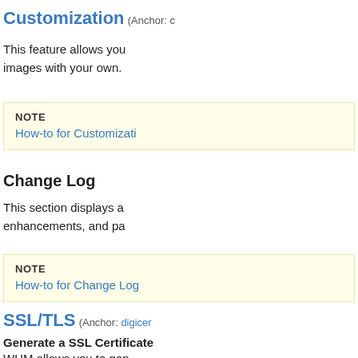Customization (Anchor: ...)
This feature allows you... images with your own.
NOTE
How-to for Customizati...
Change Log
This section displays a... enhancements, and pa...
NOTE
How-to for Change Log...
SSL/TLS (Anchor: digicer...)
Generate a SSL Certificate
WHM allows you to gen...